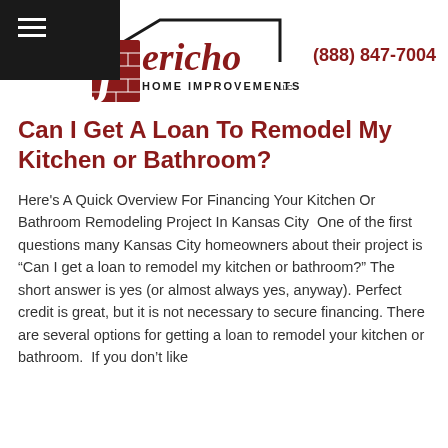[Figure (logo): Jericho Home Improvements LLC logo with brick 'J' and house roofline above the text]
(888) 847-7004
Can I Get A Loan To Remodel My Kitchen or Bathroom?
Here's A Quick Overview For Financing Your Kitchen Or Bathroom Remodeling Project In Kansas City  One of the first questions many Kansas City homeowners about their project is “Can I get a loan to remodel my kitchen or bathroom?” The short answer is yes (or almost always yes, anyway). Perfect credit is great, but it is not necessary to secure financing. There are several options for getting a loan to remodel your kitchen or bathroom.  If you don’t like